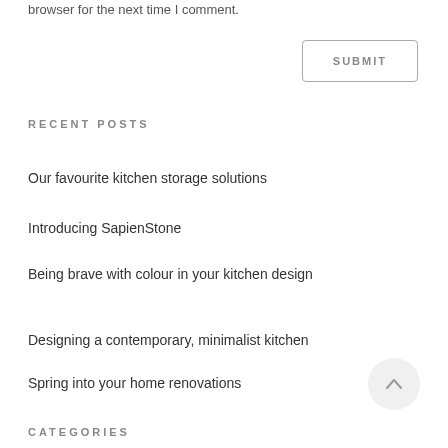browser for the next time I comment.
SUBMIT
RECENT POSTS
Our favourite kitchen storage solutions
Introducing SapienStone
Being brave with colour in your kitchen design
Designing a contemporary, minimalist kitchen
Spring into your home renovations
CATEGORIES